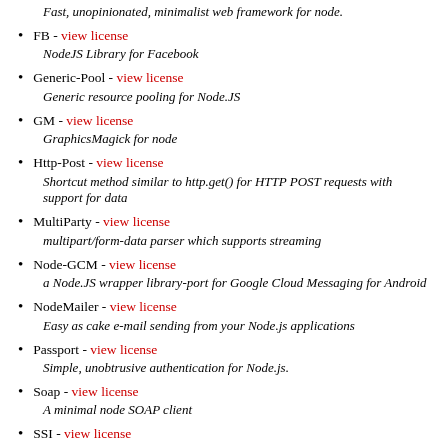Fast, unopinionated, minimalist web framework for node.
FB - view license
NodeJS Library for Facebook
Generic-Pool - view license
Generic resource pooling for Node.JS
GM - view license
GraphicsMagick for node
Http-Post - view license
Shortcut method similar to http.get() for HTTP POST requests with support for data
MultiParty - view license
multipart/form-data parser which supports streaming
Node-GCM - view license
a Node.JS wrapper library-port for Google Cloud Messaging for Android
NodeMailer - view license
Easy as cake e-mail sending from your Node.js applications
Passport - view license
Simple, unobtrusive authentication for Node.js.
Soap - view license
A minimal node SOAP client
SSI - view license
Server Side Includes for NodeJS
Tedious - view license
A TDS driver, for connecting to MS SQLServer databases.